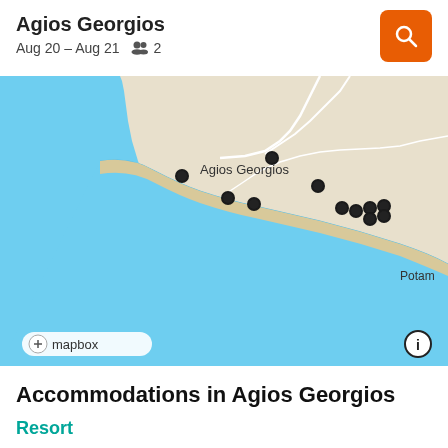Agios Georgios
Aug 20 – Aug 21    2
[Figure (map): Map showing coastal area of Agios Georgios with several dark dot markers along the coastline. Blue sea area visible, beige/tan land area with roads. Label 'Agios Georgios' on map, 'Potam' partially visible at right edge. Mapbox attribution at bottom-left, info icon at bottom-right.]
Accommodations in Agios Georgios
Resort